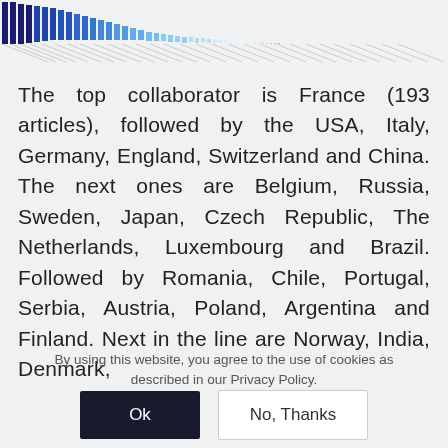[Figure (bar-chart): Partial bar chart visible at top of page showing decreasing bars from left to right, dark blue and light blue/dotted bars, appears to be a collaborator frequency chart]
The top collaborator is France (193 articles), followed by the USA, Italy, Germany, England, Switzerland and China. The next ones are Belgium, Russia, Sweden, Japan, Czech Republic, The Netherlands, Luxembourg and Brazil. Followed by Romania, Chile, Portugal, Serbia, Austria, Poland, Argentina and Finland. Next in the line are Norway, India, Denmark,
By using this website, you agree to the use of cookies as described in our Privacy Policy.